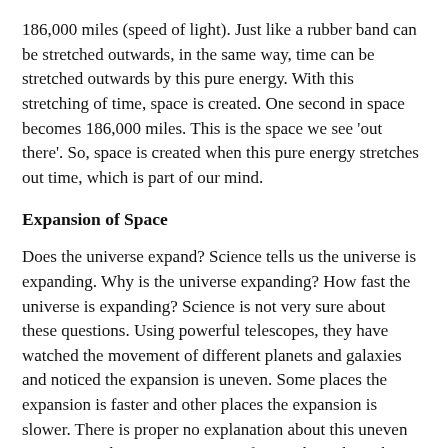186,000 miles (speed of light). Just like a rubber band can be stretched outwards, in the same way, time can be stretched outwards by this pure energy. With this stretching of time, space is created. One second in space becomes 186,000 miles. This is the space we see 'out there'. So, space is created when this pure energy stretches out time, which is part of our mind.
Expansion of Space
Does the universe expand? Science tells us the universe is expanding. Why is the universe expanding? How fast the universe is expanding? Science is not very sure about these questions. Using powerful telescopes, they have watched the movement of different planets and galaxies and noticed the expansion is uneven. Some places the expansion is faster and other places the expansion is slower. There is proper no explanation about this uneven expansion. There is immense confusion about this subject.